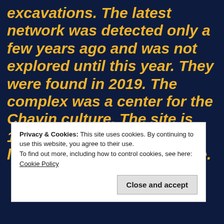excavations. The latest network was detected only a few years ago and was not explored until this year. They were found in 2019. The complex was a center for the Chavin culture. The site is 10,000 feet high and the largest Chavin religious site.
Privacy & Cookies: This site uses cookies. By continuing to use this website, you agree to their use.
To find out more, including how to control cookies, see here: Cookie Policy